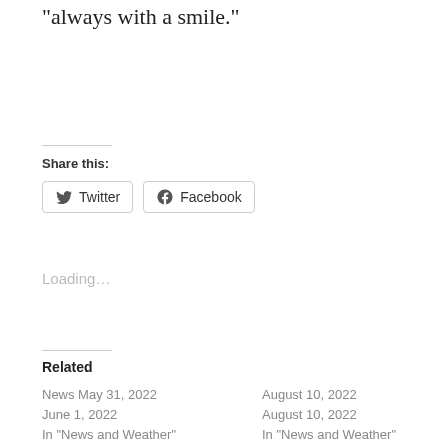“always with a smile.”
Share this:
Twitter
Facebook
Loading…
Related
News May 31, 2022
June 1, 2022
In “News and Weather”
August 10, 2022
August 10, 2022
In “News and Weather”
News July 18, 2022
July 18, 2022
In “News and Weather”